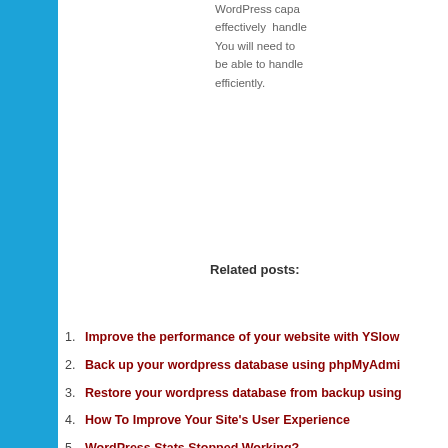WordPress capa... effectively handle... You will need to... be able to handle... efficiently.
Related posts:
Improve the performance of your website with YSlow...
Back up your wordpress database using phpMyAdmin...
Restore your wordpress database from backup using...
How To Improve Your Site's User Experience
WordPress Stats Stopped Working?
Read full article »
Community News
[Figure (illustration): Crown/king logo with yellow crown and red base]